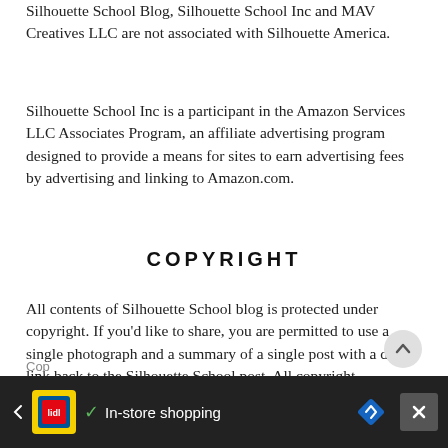Silhouette School Blog, Silhouette School Inc and MAV Creatives LLC are not associated with Silhouette America.
Silhouette School Inc is a participant in the Amazon Services LLC Associates Program, an affiliate advertising program designed to provide a means for sites to earn advertising fees by advertising and linking to Amazon.com.
COPYRIGHT
All contents of Silhouette School blog is protected under copyright. If you'd like to share, you are permitted to use a single photograph and a summary of a single post with a direct link back to the Silhouette School post. All copyright, trademark, impersonation and intellectual property violations will be subject to legal action.
Cop... In-store shopping